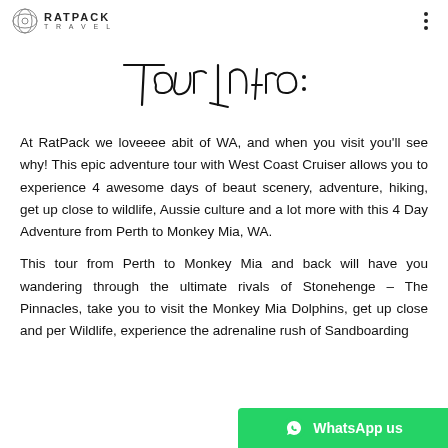RATPACK TRAVEL
Tour Intro:
At RatPack we loveeee abit of WA, and when you visit you'll see why! This epic adventure tour with West Coast Cruiser allows you to experience 4 awesome days of beaut scenery, adventure, hiking, get up close to wildlife, Aussie culture and a lot more with this 4 Day Adventure from Perth to Monkey Mia, WA.
This tour from Perth to Monkey Mia and back will have you wandering through the ultimate rivals of Stonehenge – The Pinnacles, take you to visit the Monkey Mia Dolphins, get up close and per Wildlife, experience the adrenaline rush of Sandboarding